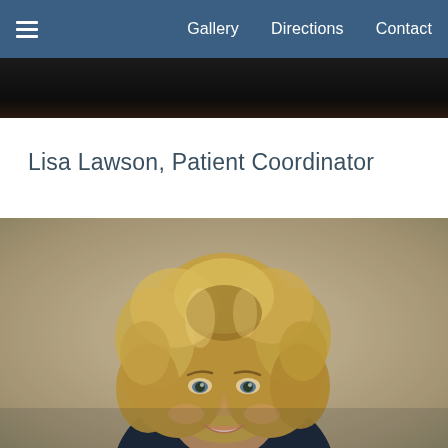≡  Gallery  Directions  Contact
Lisa Lawson, Patient Coordinator
[Figure (photo): Professional headshot of Lisa Lawson, a woman with curly blonde hair wearing dark navy scrubs, smiling, photographed against a neutral beige/tan background]